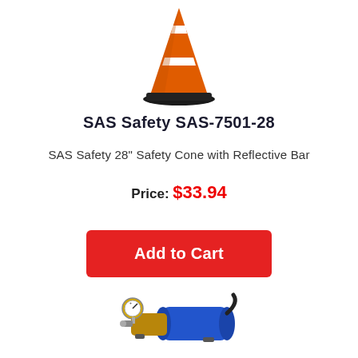[Figure (photo): Orange traffic safety cone with reflective bar and black base, viewed from front]
SAS Safety SAS-7501-28
SAS Safety 28" Safety Cone with Reflective Bar
Price: $33.94
Add to Cart
[Figure (photo): Blue electric vacuum pump with brass gauge and fittings]